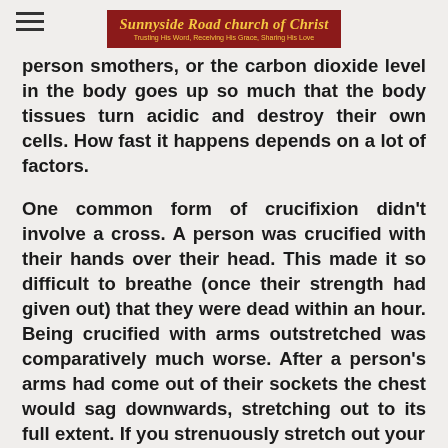Sunnyside Road church of Christ — Trusting His Word, Receiving His Grace, Sharing His Love
person smothers, or the carbon dioxide level in the body goes up so much that the body tissues turn acidic and destroy their own cells. How fast it happens depends on a lot of factors.
One common form of crucifixion didn't involve a cross. A person was crucified with their hands over their head. This made it so difficult to breathe (once their strength had given out) that they were dead within an hour. Being crucified with arms outstretched was comparatively much worse. After a person's arms had come out of their sockets the chest would sag downwards, stretching out to its full extent. If you strenuously stretch out your